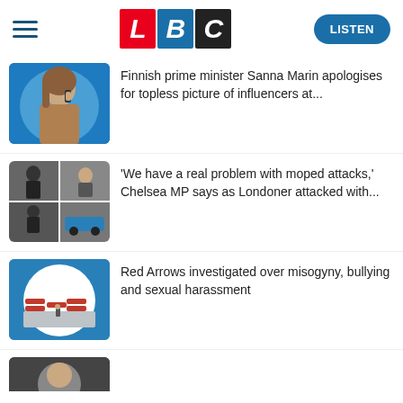LBC — LISTEN
[Figure (photo): LBC logo with L in red, B in blue, C in black/dark]
Finnish prime minister Sanna Marin apologises for topless picture of influencers at...
'We have a real problem with moped attacks,' Chelsea MP says as Londoner attacked with...
Red Arrows investigated over misogyny, bullying and sexual harassment